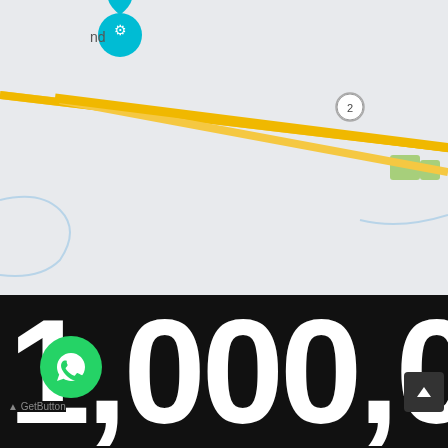[Figure (map): Google Maps screenshot showing Tok, Alaska area with roads (Route 2 and Route 1), Caribou Cabins location marker in pink, and a teal location pin labeled 'nd' in upper left.]
[Figure (screenshot): Dark background section showing large white bold text '1,000,00' (partially cropped number), a green WhatsApp button icon, and a GetButton label at bottom left.]